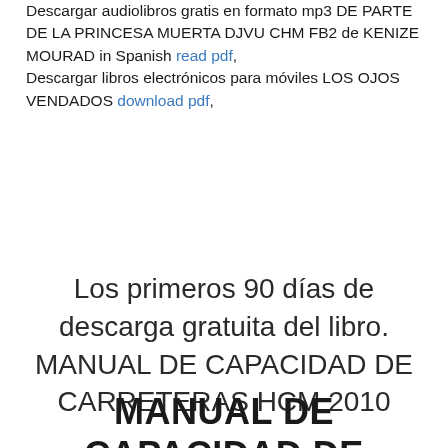Descargar audiolibros gratis en formato mp3 DE PARTE DE LA PRINCESA MUERTA DJVU CHM FB2 de KENIZE MOURAD in Spanish read pdf, Descargar libros electrónicos para móviles LOS OJOS VENDADOS download pdf,
Los primeros 90 días de descarga gratuita del libro. MANUAL DE CAPACIDAD DE CARRETERAS HCM 2010
MANUAL DE CAPACIDAD DE CARRETERAS HCM